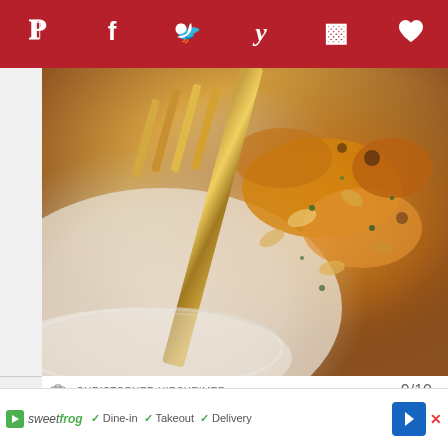[Figure (other): Social sharing bar with Pinterest, Facebook, Twitter, Yummly, Flipboard, and Favorite heart icons on dark red background]
[Figure (photo): Close-up photo of baked mac and cheese in a white dish with a golden fork, showing melted cheesy pasta with herbs]
CHRISTOPHER HIRSHEIMER   9/10
This luxe mac and cheese comes in diminutive dishes at hoity-toity Balthazar, though it creates no
[Figure (other): Advertisement bar: SweetFrog logo with Dine-in, Takeout, Delivery options and navigation arrow]